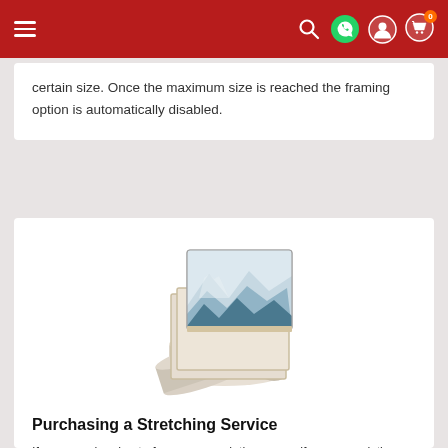Navigation bar with hamburger menu, search, WhatsApp, account, and cart icons
certain size. Once the maximum size is reached the framing option is automatically disabled.
[Figure (photo): Photo of rolled canvas prints and a mounted canvas print showing a misty mountain landscape in blue-grey tones, leaning against a stack of rolled canvases.]
Purchasing a Stretching Service
If you are planning to frame your painting yourself, use an existing frame, or frame it locally, you may choose to order your painting with a stretching service, meaning that it will